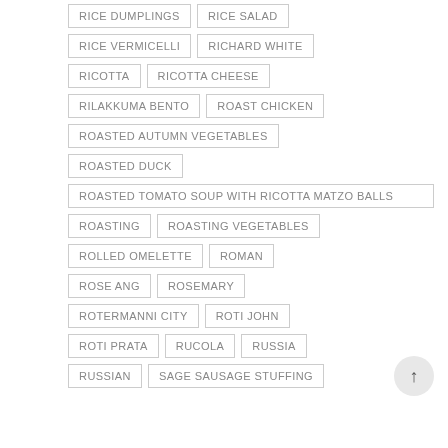RICE DUMPLINGS
RICE SALAD
RICE VERMICELLI
RICHARD WHITE
RICOTTA
RICOTTA CHEESE
RILAKKUMA BENTO
ROAST CHICKEN
ROASTED AUTUMN VEGETABLES
ROASTED DUCK
ROASTED TOMATO SOUP WITH RICOTTA MATZO BALLS
ROASTING
ROASTING VEGETABLES
ROLLED OMELETTE
ROMAN
ROSE ANG
ROSEMARY
ROTERMANNI CITY
ROTI JOHN
ROTI PRATA
RUCOLA
RUSSIA
RUSSIAN
SAGE SAUSAGE STUFFING